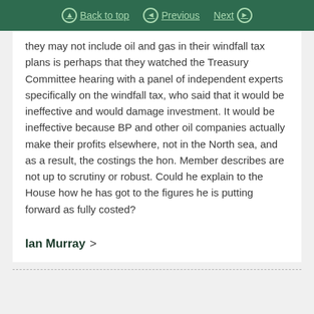Back to top | Previous | Next
they may not include oil and gas in their windfall tax plans is perhaps that they watched the Treasury Committee hearing with a panel of independent experts specifically on the windfall tax, who said that it would be ineffective and would damage investment. It would be ineffective because BP and other oil companies actually make their profits elsewhere, not in the North sea, and as a result, the costings the hon. Member describes are not up to scrutiny or robust. Could he explain to the House how he has got to the figures he is putting forward as fully costed?
Ian Murray >